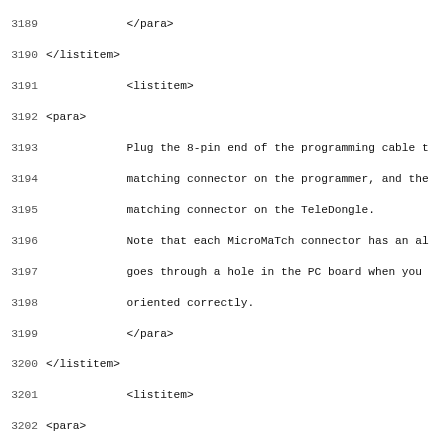Source code / XML listing showing lines 3189-3220+ with XML markup for listitem and para elements describing programming cable connection, TeleMetrum battery attachment, programmer and TeleDongle USB connection, AltosUI flash image selection, and programmer device selection steps.